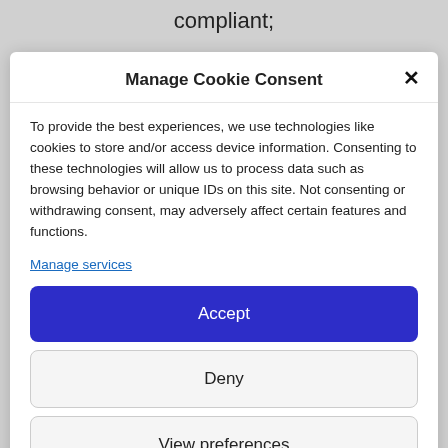compliant;
Manage Cookie Consent
To provide the best experiences, we use technologies like cookies to store and/or access device information. Consenting to these technologies will allow us to process data such as browsing behavior or unique IDs on this site. Not consenting or withdrawing consent, may adversely affect certain features and functions.
Manage services
Accept
Deny
View preferences
Cookie Policy   Privacy Policy